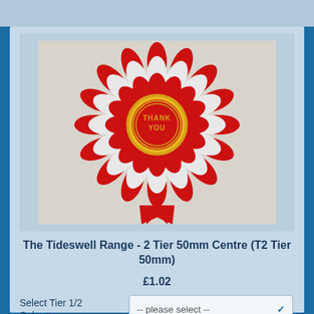[Figure (photo): A red and white rosette/ribbon award with multiple tiers and a circular centre badge reading 'THANK YOU' in gold text on a red background with gold border rings.]
The Tideswell Range - 2 Tier 50mm Centre (T2 Tier 50mm)
£1.02
Select Tier 1/2 Colour:
-- please select --